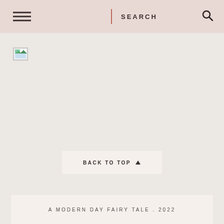SEARCH
[Figure (photo): Broken image placeholder in the top-left area of the page content]
BACK TO TOP
A MODERN DAY FAIRY TALE . 2022